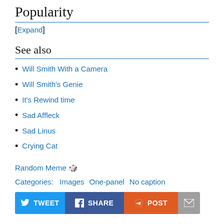Popularity
[Expand]
See also
Will Smith With a Camera
Will Smith's Genie
It's Rewind time
Sad Affleck
Sad Linus
Crying Cat
Random Meme 🎲
Categories:  Images   One-panel   No caption
[Figure (other): Social sharing buttons: TWEET, SHARE, POST, email]